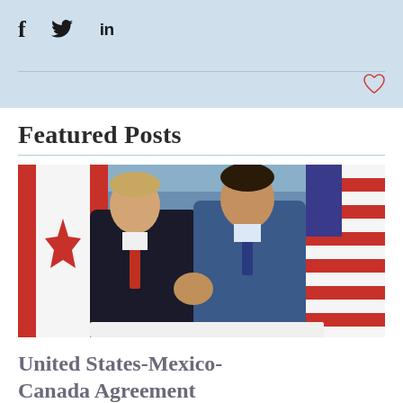[Figure (other): Social media share bar with Facebook (f), Twitter (bird), and LinkedIn (in) icons on a light blue background, with a heart icon at the bottom right]
Featured Posts
[Figure (photo): Two political leaders in suits shaking hands in front of a Canadian flag on the left and an American flag on the right, with a light blue backdrop bearing text]
United States-Mexico-Canada Agreement (USMCA)